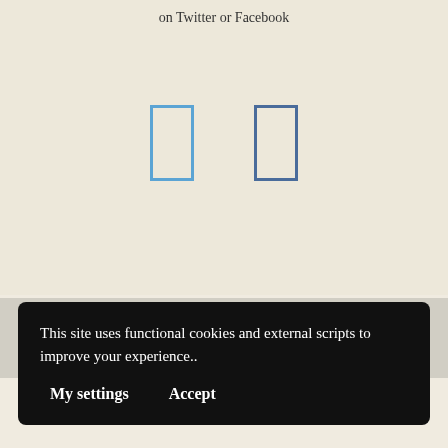on Twitter or Facebook
[Figure (illustration): Two social media icon placeholders (Twitter and Facebook) rendered as outlined rectangles in blue/dark blue borders]
[Figure (illustration): Single social media icon placeholder in gray band]
Copyright 2022 © Anna Belfrage, All rights Reserved
This site uses functional cookies and external scripts to improve your experience..
My settings
Accept